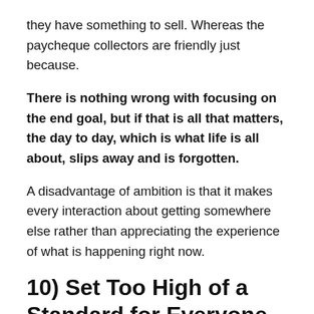they have something to sell. Whereas the paycheque collectors are friendly just because.
There is nothing wrong with focusing on the end goal, but if that is all that matters, the day to day, which is what life is all about, slips away and is forgotten.
A disadvantage of ambition is that it makes every interaction about getting somewhere else rather than appreciating the experience of what is happening right now.
10) Set Too High of a Standard for Everyone